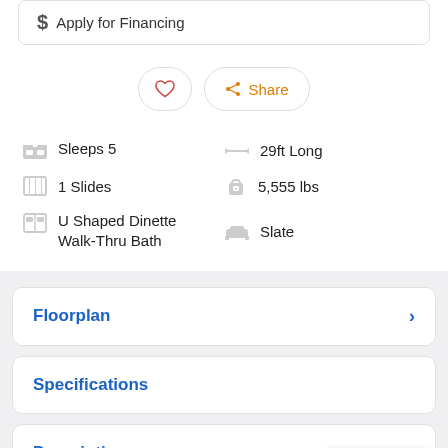$ Apply for Financing
[Figure (screenshot): Heart (favorite) icon button and orange Share button]
Sleeps 5
29ft Long
1 Slides
5,555 lbs
U Shaped Dinette Walk-Thru Bath
Slate
Floorplan
Specifications
Description
Text us!